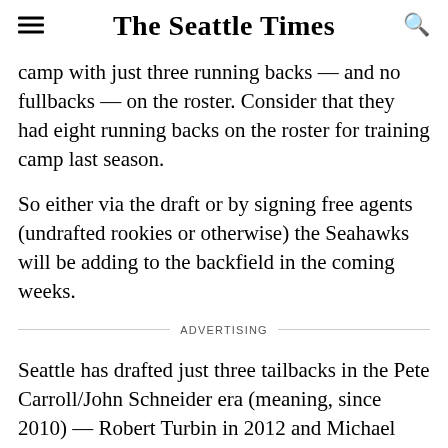The Seattle Times
camp with just three running backs — and no fullbacks — on the roster. Consider that they had eight running backs on the roster for training camp last season.
So either via the draft or by signing free agents (undrafted rookies or otherwise) the Seahawks will be adding to the backfield in the coming weeks.
ADVERTISING
Seattle has drafted just three tailbacks in the Pete Carroll/John Schneider era (meaning, since 2010) — Robert Turbin in 2012 and Michael and Spencer Ware in 2013. Seattle has drafted just one fullback in that time, Kiero Small in 2014.
But there was a lot in the above…